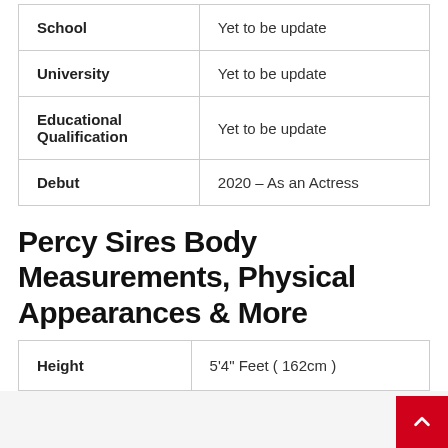|  |  |
| --- | --- |
| School | Yet to be update |
| University | Yet to be update |
| Educational Qualification | Yet to be update |
| Debut | 2020 – As an Actress |
Percy Sires Body Measurements, Physical Appearances & More
|  |  |
| --- | --- |
| Height | 5'4" Feet ( 162cm ) |